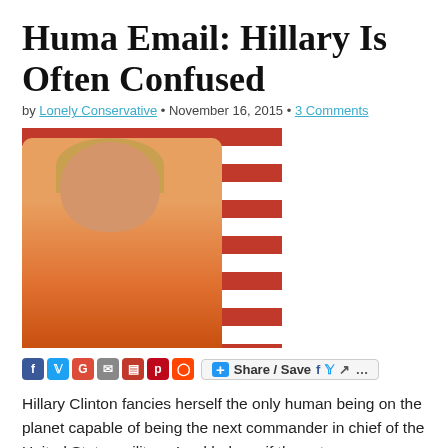Huma Email: Hillary Is Often Confused
by Lonely Conservative • November 16, 2015 • 3 Comments
[Figure (photo): Photo of a woman in an orange jacket speaking at a podium, with an American flag in the background]
Share / Save ...
Hillary Clinton fancies herself the only human being on the planet capable of being the next commander in chief of the United States military. Lord help us if the voters agree. Judicial Watch has obtained emails of her top aide…